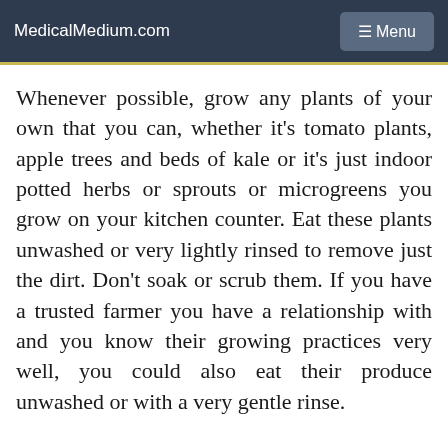MedicalMedium.com  ☰ Menu
Whenever possible, grow any plants of your own that you can, whether it's tomato plants, apple trees and beds of kale or it's just indoor potted herbs or sprouts or microgreens you grow on your kitchen counter. Eat these plants unwashed or very lightly rinsed to remove just the dirt. Don't soak or scrub them. If you have a trusted farmer you have a relationship with and you know their growing practices very well, you could also eat their produce unwashed or with a very gentle rinse.